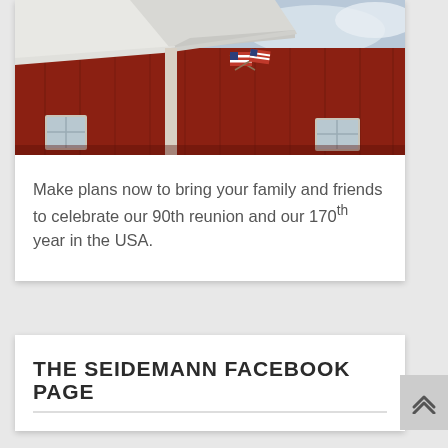[Figure (photo): Photo of a red barn with white metal roof and American flags displayed on the front face, taken from a low angle against a cloudy sky.]
Make plans now to bring your family and friends to celebrate our 90th reunion and our 170th year in the USA.
THE SEIDEMANN FACEBOOK PAGE